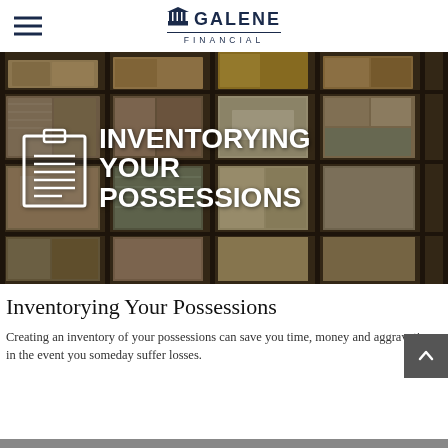Galene Financial
[Figure (photo): Warehouse shelves stacked with cardboard boxes and pallets wrapped in plastic, with overlay text reading INVENTORYING YOUR POSSESSIONS and a clipboard icon]
Inventorying Your Possessions
Creating an inventory of your possessions can save you time, money and aggravation in the event you someday suffer losses.